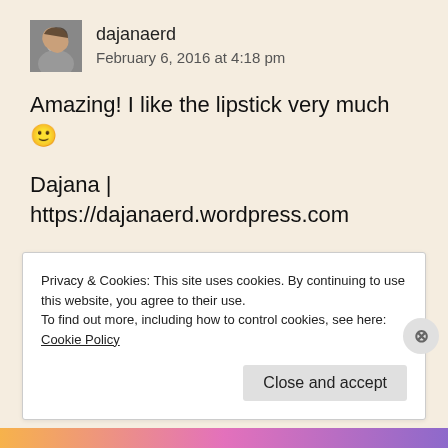[Figure (photo): Small square avatar photo of a person with dark hair]
dajanaerd
February 6, 2016 at 4:18 pm
Amazing! I like the lipstick very much 🙂
Dajana | https://dajanaerd.wordpress.com
★ Like
Reply
Privacy & Cookies: This site uses cookies. By continuing to use this website, you agree to their use.
To find out more, including how to control cookies, see here: Cookie Policy
Close and accept